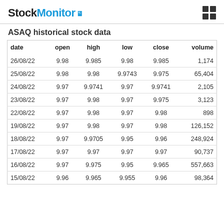StockMonitor
ASAQ historical stock data
| date | open | high | low | close | volume |
| --- | --- | --- | --- | --- | --- |
| 26/08/22 | 9.98 | 9.985 | 9.98 | 9.985 | 1,174 |
| 25/08/22 | 9.98 | 9.98 | 9.9743 | 9.975 | 65,404 |
| 24/08/22 | 9.97 | 9.9741 | 9.97 | 9.9741 | 2,105 |
| 23/08/22 | 9.97 | 9.98 | 9.97 | 9.975 | 3,123 |
| 22/08/22 | 9.97 | 9.98 | 9.97 | 9.98 | 898 |
| 19/08/22 | 9.97 | 9.98 | 9.97 | 9.98 | 126,152 |
| 18/08/22 | 9.97 | 9.9705 | 9.95 | 9.96 | 248,924 |
| 17/08/22 | 9.97 | 9.97 | 9.97 | 9.97 | 90,737 |
| 16/08/22 | 9.97 | 9.975 | 9.95 | 9.965 | 557,663 |
| 15/08/22 | 9.96 | 9.965 | 9.955 | 9.96 | 98,364 |